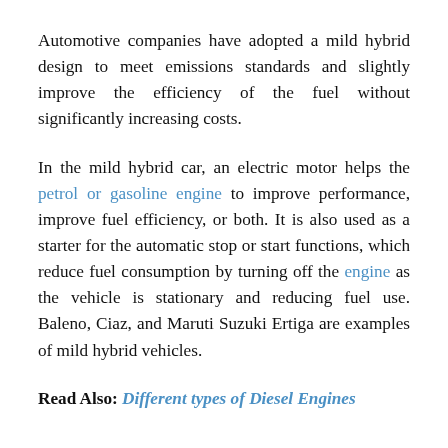Automotive companies have adopted a mild hybrid design to meet emissions standards and slightly improve the efficiency of the fuel without significantly increasing costs.
In the mild hybrid car, an electric motor helps the petrol or gasoline engine to improve performance, improve fuel efficiency, or both. It is also used as a starter for the automatic stop or start functions, which reduce fuel consumption by turning off the engine as the vehicle is stationary and reducing fuel use. Baleno, Ciaz, and Maruti Suzuki Ertiga are examples of mild hybrid vehicles.
Read Also: Different types of Diesel Engines